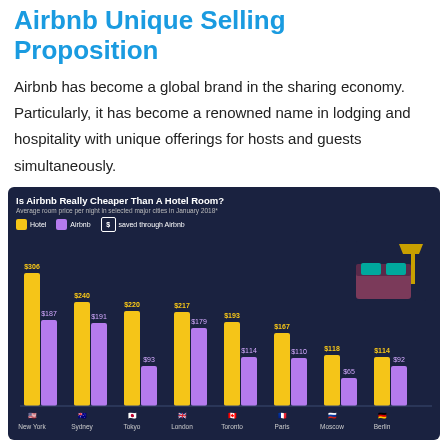Airbnb Unique Selling Proposition
Airbnb has become a global brand in the sharing economy. Particularly, it has become a renowned name in lodging and hospitality with unique offerings for hosts and guests simultaneously.
[Figure (grouped-bar-chart): Is Airbnb Really Cheaper Than A Hotel Room?]